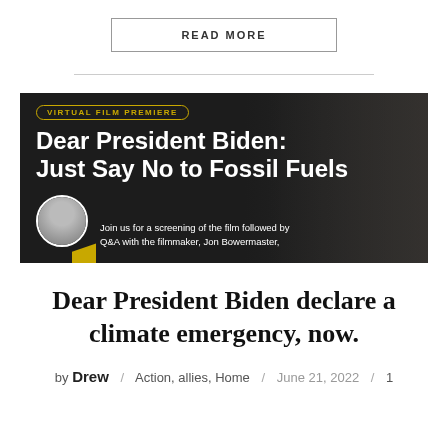READ MORE
[Figure (illustration): Dark banner for a Virtual Film Premiere event titled 'Dear President Biden: Just Say No to Fossil Fuels'. Features a yellow-outlined pill tag, bold white title text, a circular headshot of filmmaker Jon Bowermaster with a yellow accent shape, and subtext reading 'Join us for a screening of the film followed by Q&A with the filmmaker, Jon Bowermaster,']
Dear President Biden declare a climate emergency, now.
by Drew / Action, allies, Home / June 21, 2022 / 1